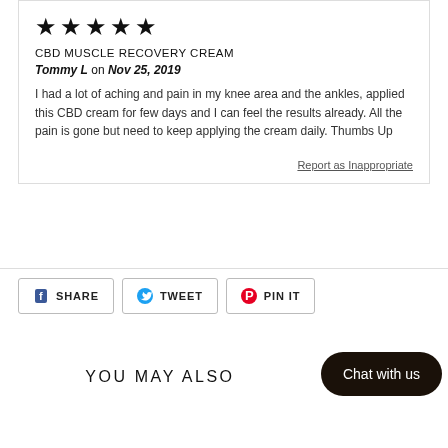[Figure (other): 5-star rating icons (black stars)]
CBD MUSCLE RECOVERY CREAM
Tommy L on Nov 25, 2019
I had a lot of aching and pain in my knee area and the ankles, applied this CBD cream for few days and I can feel the results already. All the pain is gone but need to keep applying the cream daily. Thumbs Up
Report as Inappropriate
SHARE
TWEET
PIN IT
YOU MAY ALSO
Chat with us